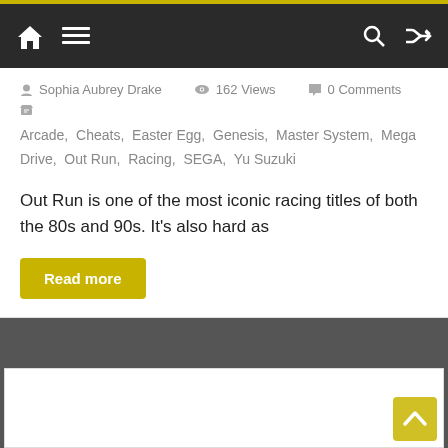Navigation bar with home, menu, search, and shuffle icons
Sophia Aubrey Drake  162 Views  0 Comments
Arcade, Cheats, Easter Egg, Genesis, Master System, Mega Drive, Out Run, Racing, SEGA, Yu Suzuki
Out Run is one of the most iconic racing titles of both the 80s and 90s. It’s also hard as
Read more
[Figure (screenshot): Partial second article card at bottom of page]